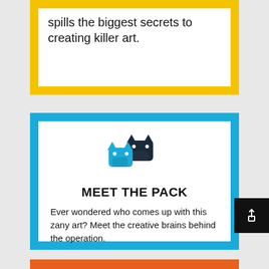spills the biggest secrets to creating killer art.
[Figure (illustration): Two overlapping dog head silhouettes, one dark navy and one bright blue, forming a logo]
MEET THE PACK
Ever wondered who comes up with this zany art? Meet the creative brains behind the operation.